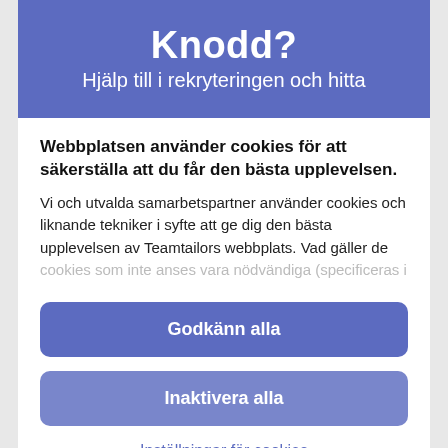Knodd?
Hjälp till i rekryteringen och hitta
Webbplatsen använder cookies för att säkerställa att du får den bästa upplevelsen. Vi och utvalda samarbetspartner använder cookies och liknande tekniker i syfte att ge dig den bästa upplevelsen av Teamtailors webbplats. Vad gäller de cookies som inte anses vara nödvändiga (specificeras i
Godkänn alla
Inaktivera alla
Inställningar för cookies